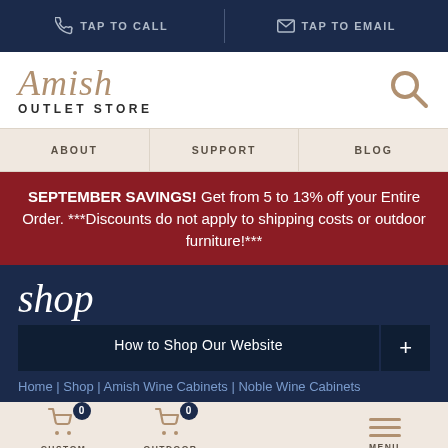TAP TO CALL | TAP TO EMAIL
[Figure (logo): Amish Outlet Store logo with search icon]
ABOUT | SUPPORT | BLOG
SEPTEMBER SAVINGS! Get from 5 to 13% off your Entire Order. ***Discounts do not apply to shipping costs or outdoor furniture!***
shop
How to Shop Our Website +
Home | Shop | Amish Wine Cabinets | Noble Wine Cabinets
CUSTOM QUOTE (0) | OUTDOOR FURNITURE (0) | MENU